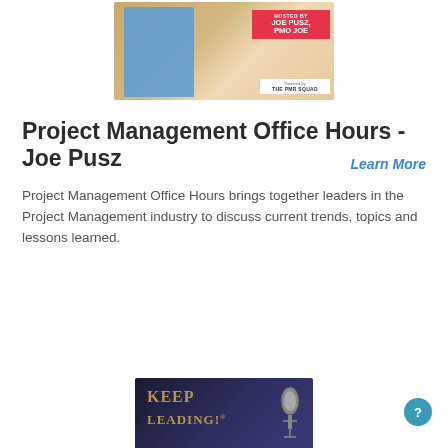[Figure (photo): Podcast thumbnail image showing a man in a blue shirt with a microphone, with text overlay 'HOSTED BY JOE PUSZ, PMO JOE' on a red background and 'Powered by THE PMR SQUAD' logo]
Project Management Office Hours - Joe Pusz
Learn More
Project Management Office Hours brings together leaders in the Project Management industry to discuss current trends, topics and lessons learned.
[Figure (photo): Bottom podcast image showing 'KEEP LEADING!' text with a microphone graphic on dark background]